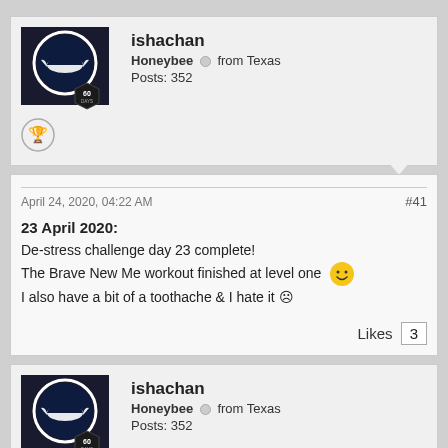ishachan | Honeybee from Texas | Posts: 352
April 24, 2020, 04:22 AM | #41
23 April 2020:
De-stress challenge day 23 complete!
The Brave New Me workout finished at level one 🙂
I also have a bit of a toothache & I hate it ☹
Likes 3
ishachan | Honeybee from Texas | Posts: 352